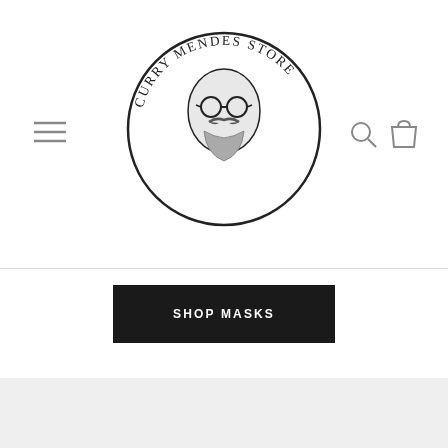[Figure (logo): Curry Mendes Store circular logo with illustrated face wearing glasses and mustache, text around the circle reads CURRY MENDES STORE]
[Figure (other): Hamburger menu icon (three horizontal lines) on the left side of the navigation header]
[Figure (other): Search icon (magnifying glass) and shopping bag icon on the right side of the navigation header]
SHOP MASKS
[Figure (other): Light gray background section below the shop masks button]